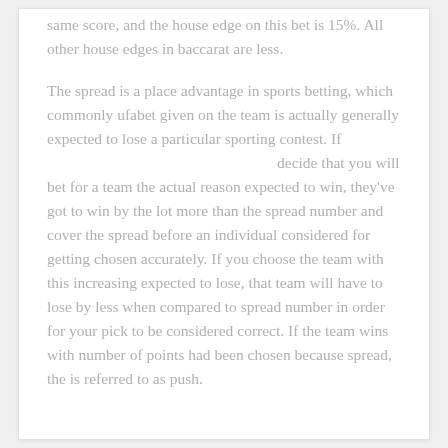same score, and the house edge on this bet is 15%. All other house edges in baccarat are less.
The spread is a place advantage in sports betting, which commonly ufabet given on the team is actually generally expected to lose a particular sporting contest. If decide that you will bet for a team the actual reason expected to win, they've got to win by the lot more than the spread number and cover the spread before an individual considered for getting chosen accurately. If you choose the team with this increasing expected to lose, that team will have to lose by less when compared to spread number in order for your pick to be considered correct. If the team wins with number of points had been chosen because spread, the is referred to as push.